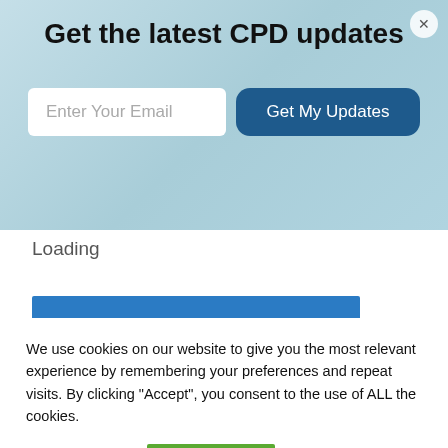Get the latest CPD updates
Enter Your Email
Get My Updates
Loading
READ MORE
We use cookies on our website to give you the most relevant experience by remembering your preferences and repeat visits. By clicking "Accept", you consent to the use of ALL the cookies.
Cookie settings
ACCEPT